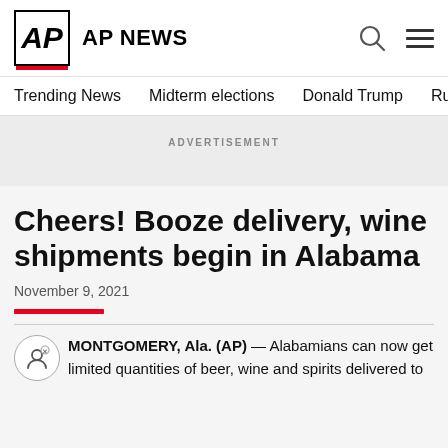AP NEWS
Trending News    Midterm elections    Donald Trump    Russia-Ukr
ADVERTISEMENT
Cheers! Booze delivery, wine shipments begin in Alabama
November 9, 2021
MONTGOMERY, Ala. (AP) — Alabamians can now get limited quantities of beer, wine and spirits delivered to